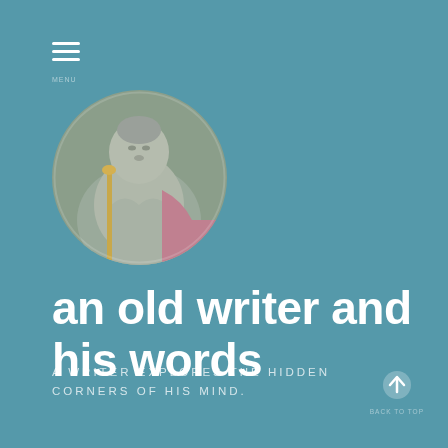[Figure (illustration): Circular avatar image showing a stone Buddha statue with ceremonial objects, framed in a circle]
an old writer and his words
A WRITER EXPLORES THE HIDDEN CORNERS OF HIS MIND.